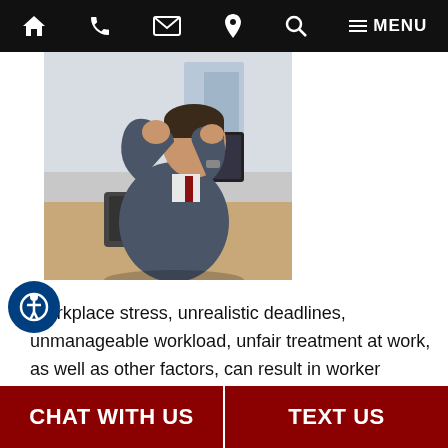Navigation bar with home, phone, email, location, search, and menu icons
[Figure (photo): A stressed businessman in a suit sits at a desk, holding his head in his hands with eyes closed, appearing exhausted or overwhelmed. Office environment visible in background.]
Workplace stress, unrealistic deadlines, unmanageable workload, unfair treatment at work, as well as other factors, can result in worker burnout. This condition is prevalent in practically all industries, and an ever-increasing number of employees across many sectors are beginning to recognize symptoms of burnout.
CHAT WITH US | TEXT US